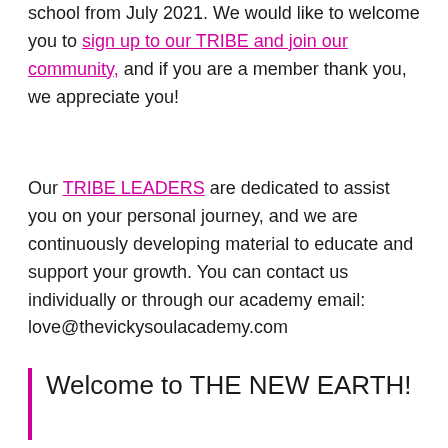school from July 2021. We would like to welcome you to sign up to our TRIBE and join our community, and if you are a member thank you, we appreciate you!
Our TRIBE LEADERS are dedicated to assist you on your personal journey, and we are continuously developing material to educate and support your growth. You can contact us individually or through our academy email: love@thevickysoulacademy.com
Welcome to THE NEW EARTH!